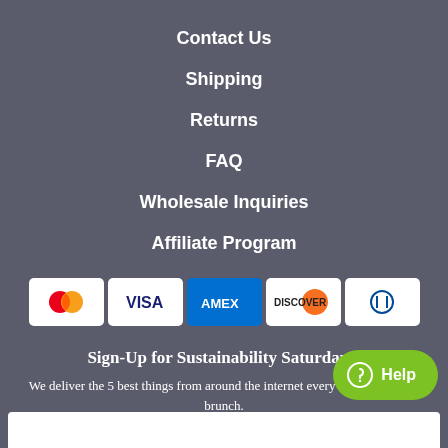Contact Us
Shipping
Returns
FAQ
Wholesale Inquiries
Affiliate Program
[Figure (other): Payment method icons: Mastercard, Visa, American Express, Discover, Diners Club]
Sign-Up for Sustainability Saturdays!
We deliver the 5 best things from around the internet every morning before brunch.